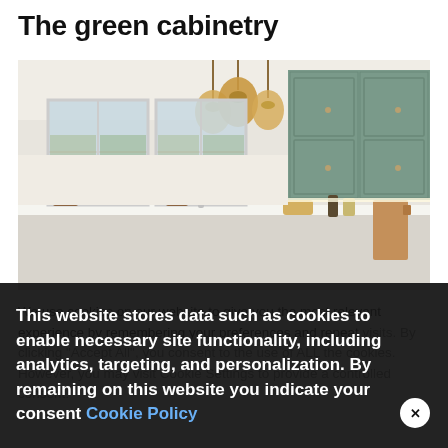The green cabinetry
[Figure (photo): Kitchen interior with sage green upper cabinets, white countertops, pendant globe lights hanging from ceiling, two windows with natural light, potted plants on windowsill, and various kitchen items on counter including cutting boards and small appliances]
We use cookies on our website to give you the most relevant experience by remembering your preferences and repeat visits. By clicking "Accept All", you consent to the use of ALL the cookies. However, you may visit Cookie Settings to provide a controlled consent.
This website stores data such as cookies to enable necessary site functionality, including analytics, targeting, and personalization. By remaining on this website you indicate your consent Cookie Policy